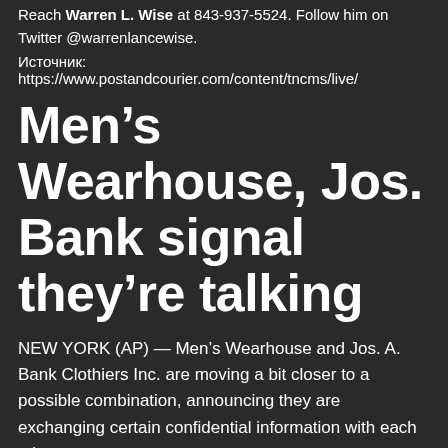Reach Warren L. Wise at 843-937-5524. Follow him on Twitter @warrenlancewise.
Источник:
https://www.postandcourier.com/content/tncms/live/
Men’s Wearhouse, Jos. Bank signal they’re talking
NEW YORK (AP) — Men’s Wearhouse and Jos. A. Bank Clothiers Inc. are moving a bit closer to a possible combination, announcing they are exchanging certain confidential information with each other.
Men’s Wearhouse Inc. said Monday that it’s also received a